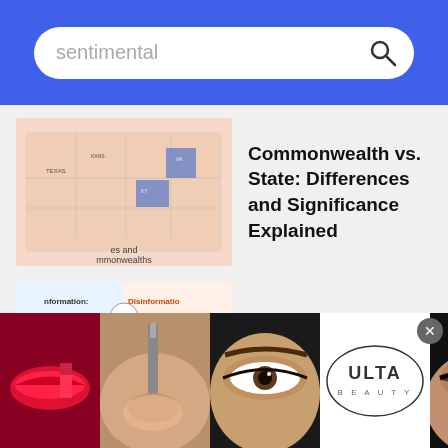sentimental
Commonwealth vs. State: Differences and Significance Explained
Misinformation vs. Disinformation: A Simple Comparison
50+ Darkness Quotes to Make You Think and Give Courage
[Figure (infographic): Ulta Beauty advertisement banner showing makeup close-ups, Ulta logo, and SHOP NOW text]